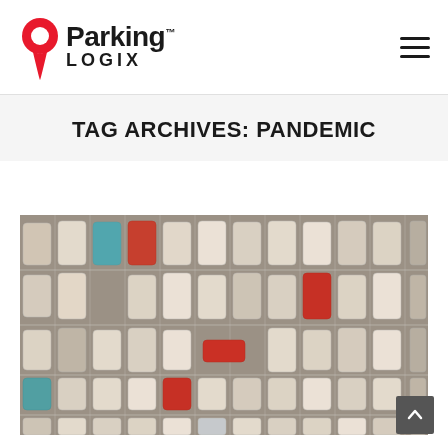Parking LOGIX
TAG ARCHIVES: PANDEMIC
[Figure (photo): Aerial view of a large parking lot filled with cars of various colors, viewed from above showing rows of parked vehicles with parking space markings visible.]